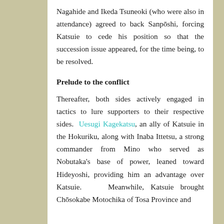Nagahide and Ikeda Tsuneoki (who were also in attendance) agreed to back Sanpōshi, forcing Katsuie to cede his position so that the succession issue appeared, for the time being, to be resolved.
Prelude to the conflict
Thereafter, both sides actively engaged in tactics to lure supporters to their respective sides. Uesugi Kagekatsu, an ally of Katsuie in the Hokuriku, along with Inaba Ittetsu, a strong commander from Mino who served as Nobutaka's base of power, leaned toward Hideyoshi, providing him an advantage over Katsuie. Meanwhile, Katsuie brought Chōsokabe Motochika of Tosa Province and